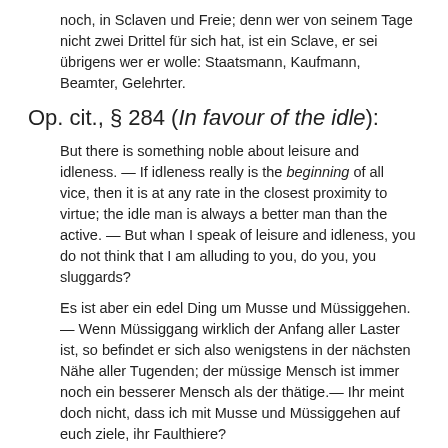noch, in Sclaven und Freie; denn wer von seinem Tage nicht zwei Drittel für sich hat, ist ein Sclave, er sei übrigens wer er wolle: Staatsmann, Kaufmann, Beamter, Gelehrter.
Op. cit., § 284 (In favour of the idle):
But there is something noble about leisure and idleness. — If idleness really is the beginning of all vice, then it is at any rate in the closest proximity to virtue; the idle man is always a better man than the active. — But whan I speak of leisure and idleness, you do not think that I am alluding to you, do you, you sluggards?
Es ist aber ein edel Ding um Musse und Müssiggehen.— Wenn Müssiggang wirklich der Anfang aller Laster ist, so befindet er sich also wenigstens in der nächsten Nähe aller Tugenden; der müssige Mensch ist immer noch ein besserer Mensch als der thätige.— Ihr meint doch nicht, dass ich mit Musse und Müssiggehen auf euch ziele, ihr Faulthiere?
Op. cit., § 285 (Modern restlessness):